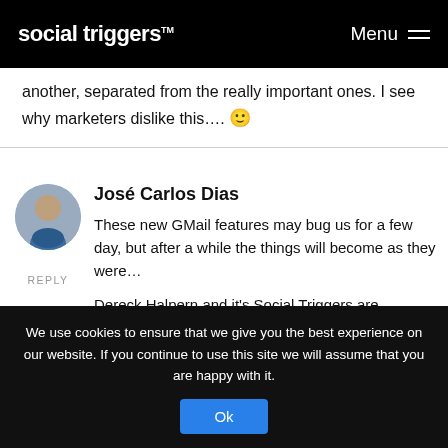social triggers™  Menu
another, separated from the really important ones. I see why marketers dislike this.... 🙂
José Carlos Dias
These new GMail features may bug us for a few day, but after a while the things will become as they were...

Dereck Halpern and it's Social Triggers are fantastic and it will remain as such even with these stupid mass ups.

But in any case I'll share this information as much as I can!
We use cookies to ensure that we give you the best experience on our website. If you continue to use this site we will assume that you are happy with it.  Ok